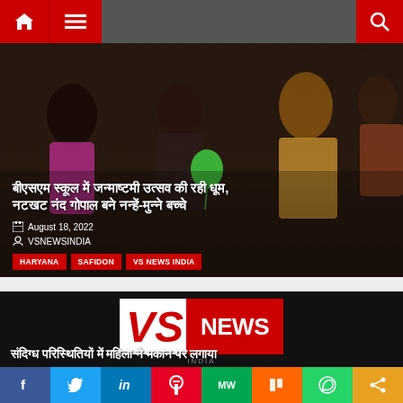VS News India - Navigation bar with home, menu, and search icons
[Figure (photo): Group of people at a celebration event, likely Janmashtami festival at BSM School, with colorful attire]
बीएसएम स्कूल में जन्माष्टमी उत्सव की रही धूम, नटखट नंद गोपाल बने नन्हें-मुन्ने बच्चे
August 18, 2022
VSNEWSINDIA
HARYANA   SAFIDON   VS NEWS INDIA
[Figure (logo): VS News India logo - black VS symbol on white background next to NEWS text on red background]
संदिग्ध परिस्थितियों में महिला ने मकान पर लगाया
f  Twitter  in  Pinterest  MW  Mix  WhatsApp  Share